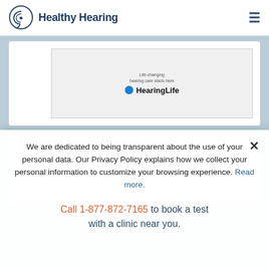Healthy Hearing
[Figure (logo): HearingLife advertisement banner with tagline 'Life-changing hearing care starts here' and HearingLife logo with blue dot]
Expert Hearing - Munster (1.2 miles)
We are dedicated to being transparent about the use of your personal data. Our Privacy Policy explains how we collect your personal information to customize your browsing experience. Read more.
Call 1-877-872-7165 to book a test with a clinic near you.